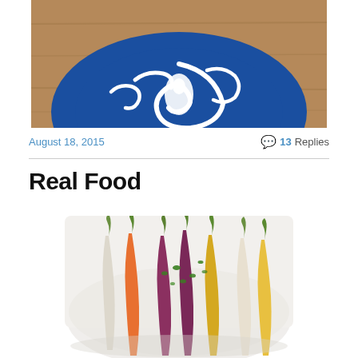[Figure (photo): Top portion of a blue and white decorative ceramic plate/bowl with swirl patterns, photographed from above on a wooden surface]
August 18, 2015
13 Replies
Real Food
[Figure (photo): Colorful baby carrots (orange, purple, yellow, white) arranged on a white plate, garnished with parsley, photographed from above]